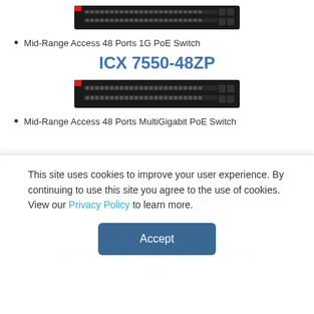[Figure (photo): Network switch hardware photo - Mid-Range Access 48 Ports 1G PoE Switch top view]
Mid-Range Access 48 Ports 1G PoE Switch
ICX 7550-48ZP
[Figure (photo): Network switch hardware photo - Mid-Range Access 48 Ports MultiGigabit PoE Switch]
Mid-Range Access 48 Ports MultiGigabit PoE Switch
ICX 7650-48F
24 Port 1G SFP, 8-24 Port 10G SFP+ Aggregation Switch
This site uses cookies to improve your user experience. By continuing to use this site you agree to the use of cookies. View our Privacy Policy to learn more.
Accept